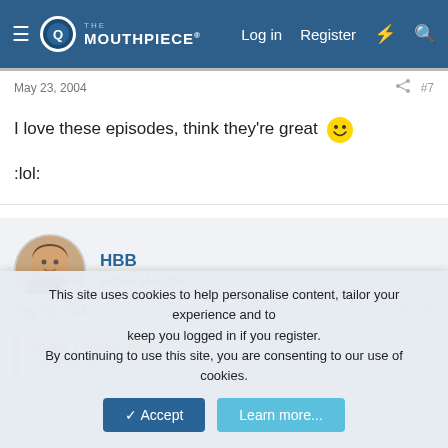The Mouthpiece — Log in | Register
May 23, 2004   #7
I love these episodes, think they're great 😀

:lol:
HBB
Active Member
May 23, 2004   #8
Roger Thorne said:
This site uses cookies to help personalise content, tailor your experience and to keep you logged in if you register.
By continuing to use this site, you are consenting to our use of cookies.